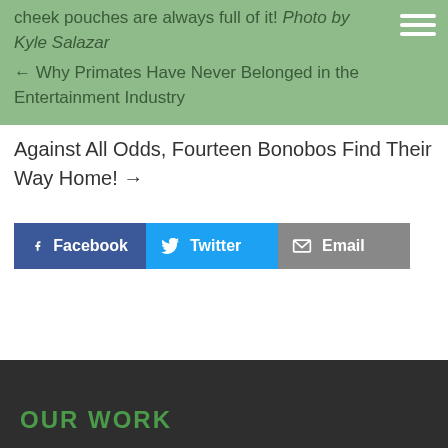cheek pouches are always full of it! Photo by Kyle Salazar
← Why Primates Have Never Belonged in the Entertainment Industry
Against All Odds, Fourteen Bonobos Find Their Way Home! →
[Figure (infographic): Social share buttons: Facebook, Twitter, Email]
OUR WORK